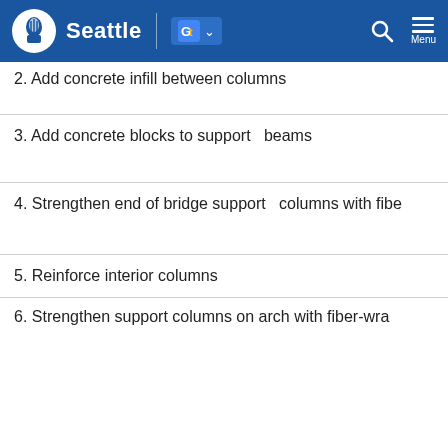Seattle
2. Add concrete infill between columns
3. Add concrete blocks to support   beams
4. Strengthen end of bridge support   columns with fibe
5. Reinforce interior columns
6. Strengthen support columns on arch with fiber-wra